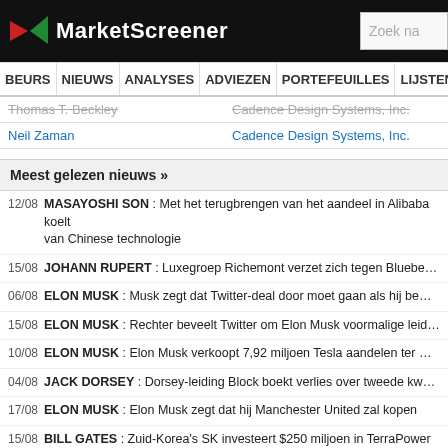MarketScreener
BEURS NIEUWS ANALYSES ADVIEZEN PORTEFEUILLES LIJSTENS
| Person | Company |
| --- | --- |
| Thomas T. Beckley | Cadence Design Systems, Inc. |
| Neil Zaman | Cadence Design Systems, Inc. |
Meest gelezen nieuws »
12/08 MASAYOSHI SON : Met het terugbrengen van het aandeel in Alibaba koelt... van Chinese technologie
15/08 JOHANN RUPERT : Luxegroep Richemont verzet zich tegen Bluebell's bo...
06/08 ELON MUSK : Musk zegt dat Twitter-deal door moet gaan als hij bewijs lev...
15/08 ELON MUSK : Rechter beveelt Twitter om Elon Musk voormalige leidingge...
10/08 ELON MUSK : Elon Musk verkoopt 7,92 miljoen Tesla aandelen ter waarde...
04/08 JACK DORSEY : Dorsey-leiding Block boekt verlies over tweede kwartaal
17/08 ELON MUSK : Elon Musk zegt dat hij Manchester United zal kopen
15/08 BILL GATES : Zuid-Korea's SK investeert $250 miljoen in TerraPower van... kernenergietechnologie
13/08 ANSHU JAIN : Voormalig Deutsche Bank co-CEO Anshu Jain overlijdt - Bl...
12/08 MIUCCIA PRADA : Prada zoekt $1 miljard waardering bij beursnotering in...